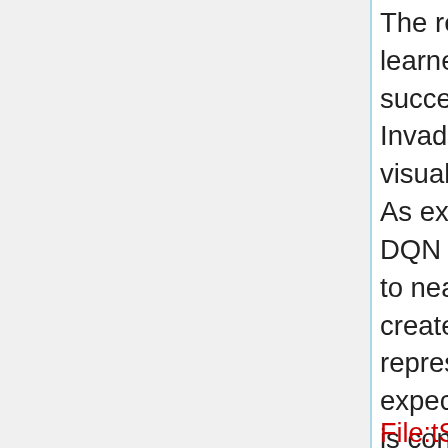The researchers also explored the representation learned by DQN that underpinned the most successful agent in the context of the game Space Invaders by using a technique developed for visualizing high-dimensional data called 't-SNE'. As expected, the t-SNE algorithm tends to map the DQN representation of perceptually similar states to nearby points. It was also discovered that t-SNE created similar embeddings for DQN representations that were close in terms of expected reward but perceptually dissimilar. This is consistent with the notion that the network can learn representations that support adaptive behaviour from high-dimensional sensory inputs. See the figure below for a depiction of the t-SNE.
File:tSNE.JPG